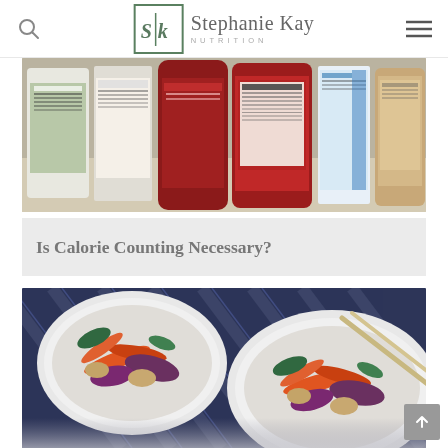Stephanie Kay Nutrition
[Figure (photo): Photo of multiple food product jars and cans showing nutrition labels, lined up on a counter]
Is Calorie Counting Necessary?
[Figure (photo): Overhead photo of two white bowls containing colorful vegetable stir-fry salad with chopsticks, on a dark blue striped cloth]